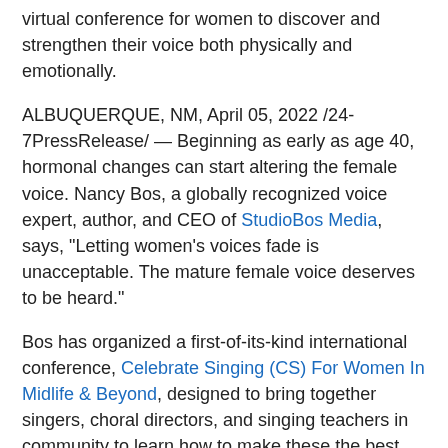virtual conference for women to discover and strengthen their voice both physically and emotionally.
ALBUQUERQUE, NM, April 05, 2022 /24-7PressRelease/ — Beginning as early as age 40, hormonal changes can start altering the female voice. Nancy Bos, a globally recognized voice expert, author, and CEO of StudioBos Media, says, "Letting women's voices fade is unacceptable. The mature female voice deserves to be heard."
Bos has organized a first-of-its-kind international conference, Celebrate Singing (CS) For Women In Midlife & Beyond, designed to bring together singers, choral directors, and singing teachers in community to learn how to make these the best years for a woman's voice.